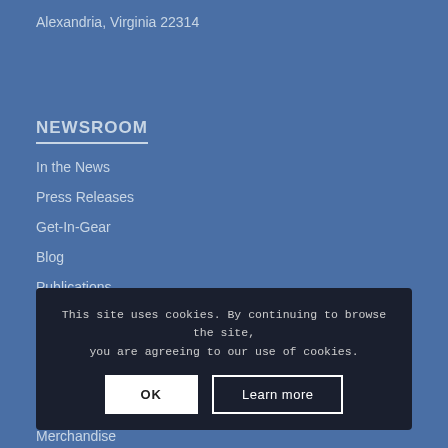Alexandria, Virginia 22314
NEWSROOM
In the News
Press Releases
Get-In-Gear
Blog
Publications
This site uses cookies. By continuing to browse the site, you are agreeing to our use of cookies.
OK
Learn more
MAIN SITE
Contacts
Merchandise